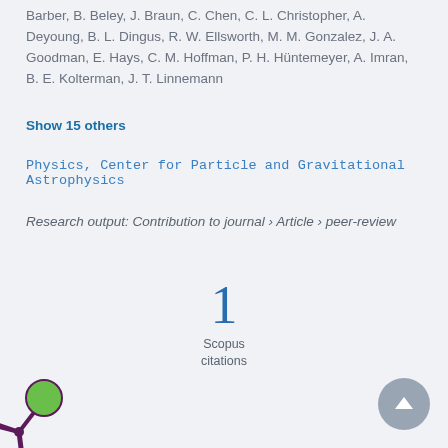Barber, B. Beley, J. Braun, C. Chen, C. L. Christopher, A. Deyoung, B. L. Dingus, R. W. Ellsworth, M. M. Gonzalez, J. A. Goodman, E. Hays, C. M. Hoffman, P. H. Hüntemeyer, A. Imran, B. E. Kolterman, J. T. Linnemann
Show 15 others
Physics, Center for Particle and Gravitational Astrophysics
Research output: Contribution to journal › Article › peer-review
1
Scopus
citations
[Figure (logo): Altmetric logo — stylized asterisk/splat shape with colored circles in orange, green, and purple on dark purple stems]